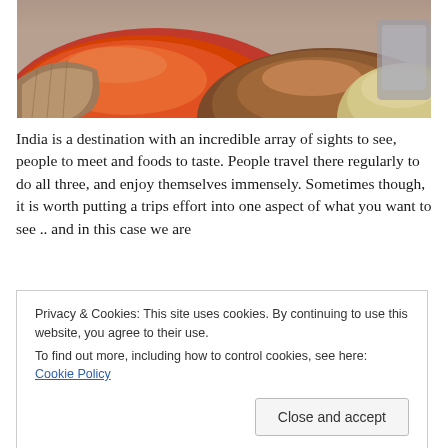[Figure (photo): Colorful spices in burlap sacks at an Indian market — prominent red/orange chili powder in foreground, other spices in background]
India is a destination with an incredible array of sights to see, people to meet and foods to taste. People travel there regularly to do all three, and enjoy themselves immensely. Sometimes though, it is worth putting a trips effort into one aspect of what you want to see .. and in this case we are
Privacy & Cookies: This site uses cookies. By continuing to use this website, you agree to their use.
To find out more, including how to control cookies, see here: Cookie Policy
On this tour we will experience some of the finest